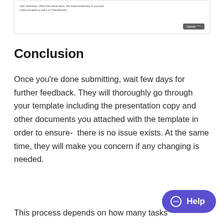[Figure (screenshot): A screenshot of a file upload UI component showing small text about item licenses and an Upload button with a camera icon.]
Conclusion
Once you're done submitting, wait few days for further feedback. They will thoroughly go through your template including the presentation copy and other documents you attached with the template in order to ensure- there is no issue exists. At the same time, they will make you concern if any changing is needed.
This process depends on how many tasks